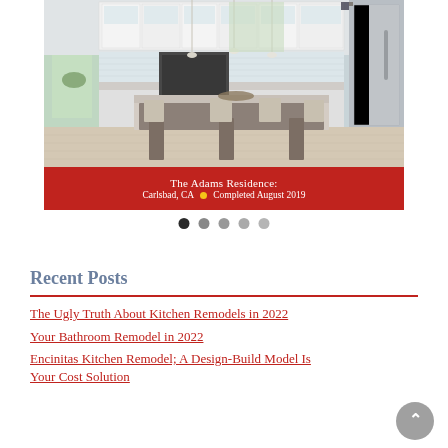[Figure (photo): Photo of a modern white kitchen with large island seating, pendant lights, stainless steel refrigerator, and hardwood floors. A red banner overlay at the bottom reads 'The Adams Residence: Carlsbad, CA • Completed August 2019'. Below the image are five navigation dots (first one active/dark).]
Recent Posts
The Ugly Truth About Kitchen Remodels in 2022
Your Bathroom Remodel in 2022
Encinitas Kitchen Remodel; A Design-Build Model Is Your Cost Solution